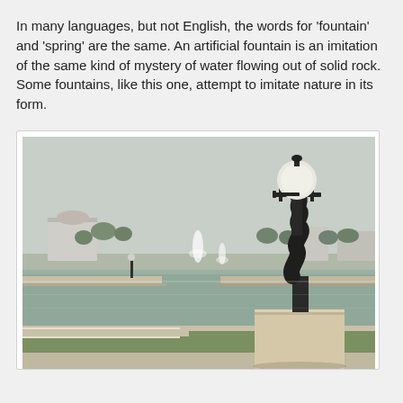In many languages, but not English, the words for 'fountain' and 'spring' are the same. An artificial fountain is an imitation of the same kind of mystery of water flowing out of solid rock. Some fountains, like this one, attempt to imitate nature in its form.
[Figure (photo): Outdoor photo of a decorative ornate black iron lamp post on a stone pedestal in the foreground, with a water canal or reflecting pool behind it featuring two fountain jets, green grass, trees, and buildings in the background under an overcast sky.]